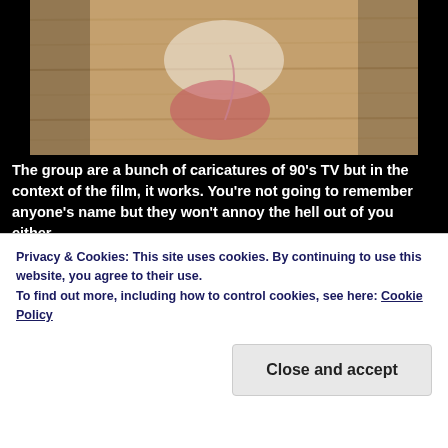[Figure (photo): Close-up medical or biological photo, warm brown/tan tones with pinkish area visible, appears to be a clinical image on black background]
The group are a bunch of caricatures of 90's TV but in the context of the film, it works. You're not going to remember anyone's name but they won't annoy the hell out of you either.
So as the group get to know each other, Kyra's
Privacy & Cookies: This site uses cookies. By continuing to use this website, you agree to their use.
To find out more, including how to control cookies, see here: Cookie Policy
Close and accept